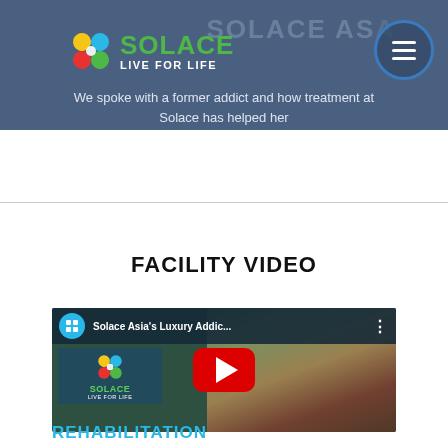[Figure (logo): Solace Live For Life logo with colorful flower/leaf icon and green SOLACE text]
We spoke with a former addict and how treatment at Solace has helped her
FACILITY VIDEO
[Figure (screenshot): YouTube video thumbnail for Solace Asia's Luxury Addiction Treatment facility video showing aerial view of the property with play button]
REHABILITATION